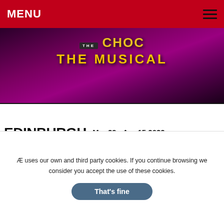MENU
[Figure (illustration): Purple/magenta theatrical banner showing 'THE MUSICAL' text on a dark purple background, partial title visible at top]
[Figure (other): Edinburgh Playhouse advertisement: EDINBURGH PLAYHOUSE | Mar 29 - Apr 15 2023 | Click for details]
LATEST PRODUCTION NEWS
Austen rom-com returns
Sunshine cancels
Rocky Returns
Æ uses our own and third party cookies. If you continue browsing we consider you accept the use of these cookies.